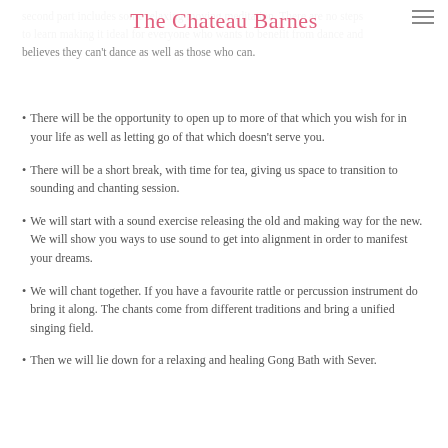The Chateau Barnes
second part includes some relaxing moving meditation. There are no steps to learn making it ideal for everyone who wants to benefit from dance and believes they can't dance as well as those who can.
There will be the opportunity to open up to more of that which you wish for in your life as well as letting go of that which doesn't serve you.
There will be a short break, with time for tea, giving us space to transition to sounding and chanting session.
We will start with a sound exercise releasing the old and making way for the new. We will show you ways to use sound to get into alignment in order to manifest your dreams.
We will chant together. If you have a favourite rattle or percussion instrument do bring it along. The chants come from different traditions and bring a unified singing field.
Then we will lie down for a relaxing and healing Gong Bath with Sever.